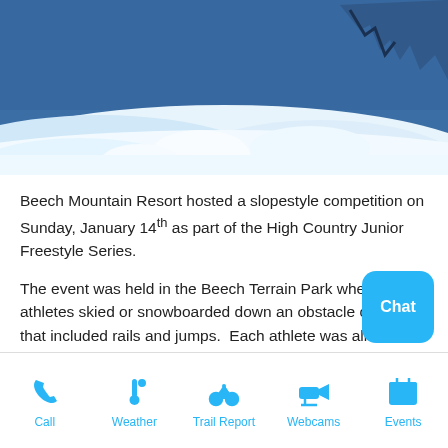[Figure (photo): Snow scene photo with blue background and snow mounds, appears to be a ski resort terrain park area]
Beech Mountain Resort hosted a slopestyle competition on Sunday, January 14th as part of the High Country Junior Freestyle Series.
The event was held in the Beech Terrain Park where 48 athletes skied or snowboarded down an obstacle course that included rails and jumps.  Each athlete was allowed three runs.  A team of judges evaluated heights of jumps, trick difficulty, execution and style.
9 & under boys Snowboard
Call | Weather | Trail Report | Webcams | Events